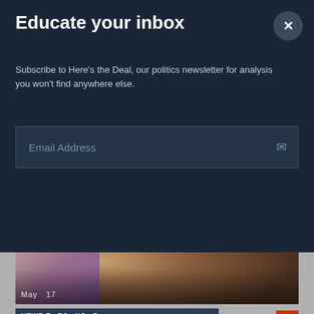Educate your inbox
Subscribe to Here's the Deal, our politics newsletter for analysis you won't find anywhere else.
Email Address
[Figure (photo): A man in clerical robes with a beard speaking at a microphone, with another person visible in the background near a yellow sign]
May  17
Voter suppression and the impact of COVID-19 on people of color
[Figure (screenshot): Partial view of a news segment thumbnail with text overlay showing partial words and a red play button]